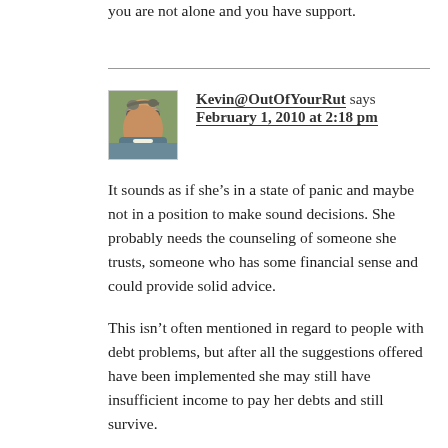you are not alone and you have support.
[Figure (photo): Avatar photo of Kevin, a man with glasses and a beard wearing a blue-green shirt]
Kevin@OutOfYourRut says February 1, 2010 at 2:18 pm
It sounds as if she’s in a state of panic and maybe not in a position to make sound decisions. She probably needs the counseling of someone she trusts, someone who has some financial sense and could provide solid advice.
This isn’t often mentioned in regard to people with debt problems, but after all the suggestions offered have been implemented she may still have insufficient income to pay her debts and still survive.